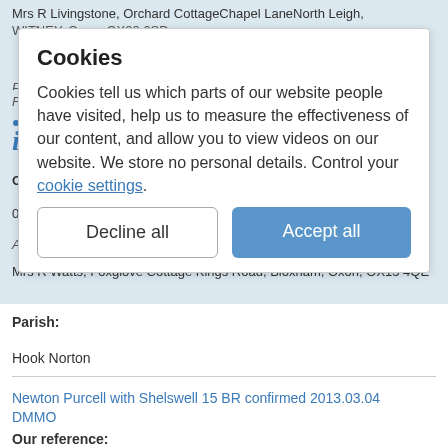Mrs R Livingstone, Orchard CottageChapel LaneNorth Leigh, WITNEY, Oxon, OX29 6SD
Parish:
Finmere
[Figure (screenshot): Cookie consent overlay dialog with title 'Cookies', description text about cookie usage, a link 'cookie settings', and two buttons: 'Decline all' and 'Accept all']
Hook Norton
Our reference:
03572
Applicant name:
Mrs R Watts, Foxglove Cottage Kings Road, Bloxham, Oxon, OX15 4QE
Parish:
Hook Norton
Newton Purcell with Shelswell 15 BR confirmed 2013.03.04 DMMO
Our reference: